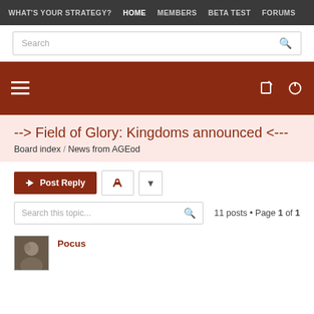WHAT'S YOUR STRATEGY?  HOME  MEMBERS  BETA TEST  FORUMS
Search
[Figure (screenshot): Red banner with hamburger menu icon on left and edit/power icons on right]
--> Field of Glory: Kingdoms announced <---
Board index / News from AGEod
Post Reply
Search this topic...    11 posts • Page 1 of 1
Pocus